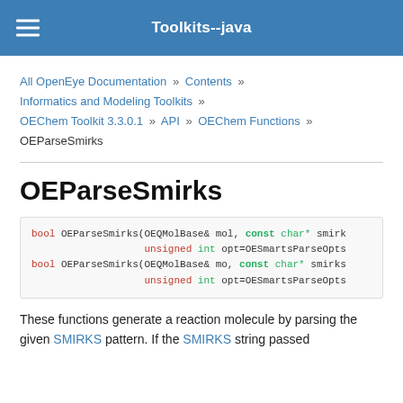Toolkits--java
All OpenEye Documentation » Contents » Informatics and Modeling Toolkits » OEChem Toolkit 3.3.0.1 » API » OEChem Functions » OEParseSmirks
OEParseSmirks
bool OEParseSmirks(OEQMolBase& mol, const char* smirk
                   unsigned int opt=OESmartsParseOpts
bool OEParseSmirks(OEQMolBase& mo, const char* smirks
                   unsigned int opt=OESmartsParseOpts
These functions generate a reaction molecule by parsing the given SMIRKS pattern. If the SMIRKS string passed